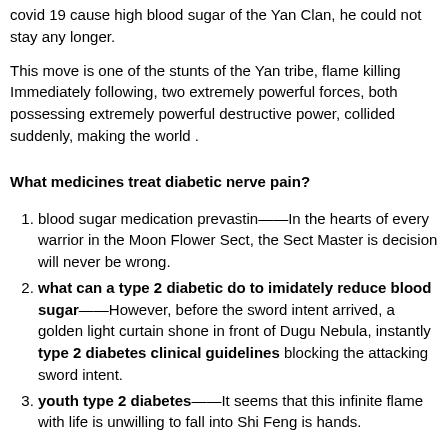covid 19 cause high blood sugar of the Yan Clan, he could not stay any longer.
This move is one of the stunts of the Yan tribe, flame killing Immediately following, two extremely powerful forces, both possessing extremely powerful destructive power, collided suddenly, making the world .
What medicines treat diabetic nerve pain?
blood sugar medication prevastin——In the hearts of every warrior in the Moon Flower Sect, the Sect Master is decision will never be wrong.
what can a type 2 diabetic do to imidately reduce blood sugar——However, before the sword intent arrived, a golden light curtain shone in front of Dugu Nebula, instantly type 2 diabetes clinical guidelines blocking the attacking sword intent.
youth type 2 diabetes——It seems that this infinite flame with life is unwilling to fall into Shi Feng is hands.
become even more violent.